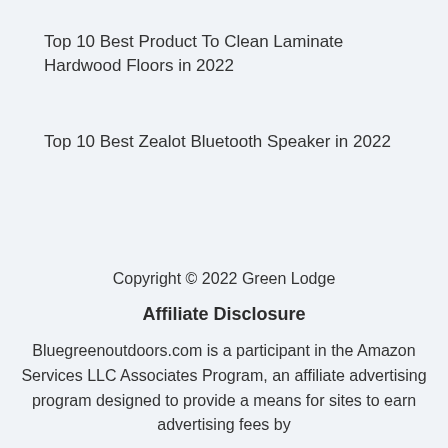Top 10 Best Product To Clean Laminate Hardwood Floors in 2022
Top 10 Best Zealot Bluetooth Speaker in 2022
Copyright © 2022 Green Lodge
Affiliate Disclosure
Bluegreenoutdoors.com is a participant in the Amazon Services LLC Associates Program, an affiliate advertising program designed to provide a means for sites to earn advertising fees by